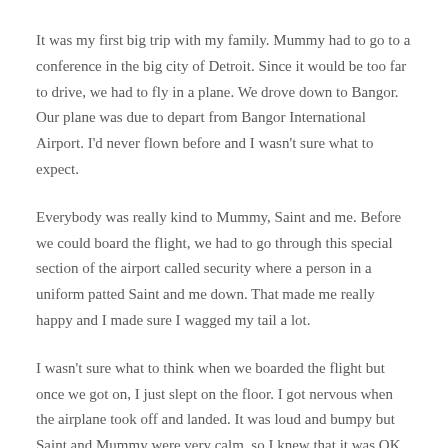It was my first big trip with my family. Mummy had to go to a conference in the big city of Detroit. Since it would be too far to drive, we had to fly in a plane. We drove down to Bangor. Our plane was due to depart from Bangor International Airport. I'd never flown before and I wasn't sure what to expect.
Everybody was really kind to Mummy, Saint and me. Before we could board the flight, we had to go through this special section of the airport called security where a person in a uniform patted Saint and me down. That made me really happy and I made sure I wagged my tail a lot.
I wasn't sure what to think when we boarded the flight but once we got on, I just slept on the floor. I got nervous when the airplane took off and landed. It was loud and bumpy but Saint and Mummy were very calm, so I knew that it was OK.